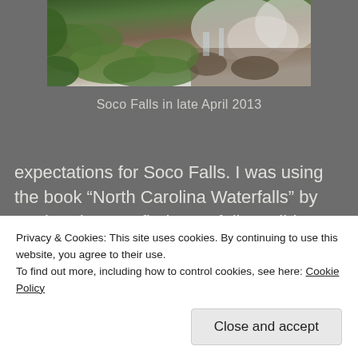[Figure (photo): Partial view of Soco Falls area showing green vegetation, moss, rocks and rushing water]
Soco Falls in late April 2013
expectations for Soco Falls. I was using the book “North Carolina Waterfalls” by Kevin Adams to find waterfall candidates. In 2005, he did not have anything particularly good to say about the falls. It is different now! And I think it’s possible that his comments could have spurred the changes (or the changes were already
Privacy & Cookies: This site uses cookies. By continuing to use this website, you agree to their use.
To find out more, including how to control cookies, see here: Cookie Policy
Close and accept